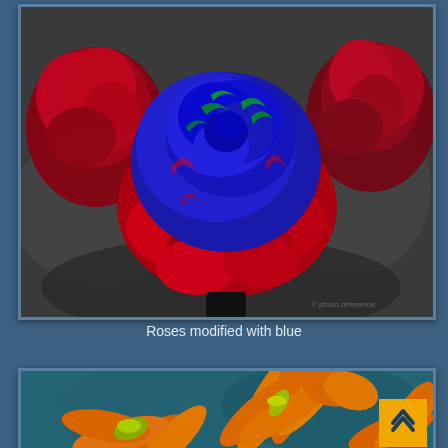[Figure (photo): Photo of roses with digital color manipulation — center rose colored vivid blue and green over red petals, flanked by natural red roses, dark blurred background]
Roses modified with blue
[Figure (photo): Photo of orange lily-like flowers (Clivia) against a teal/blue background, showing multiple blooms with yellow-green centers]